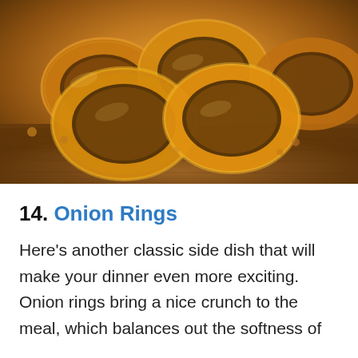[Figure (photo): Close-up photograph of golden-brown crispy onion rings piled on a wooden cutting board.]
14. Onion Rings
Here's another classic side dish that will make your dinner even more exciting. Onion rings bring a nice crunch to the meal, which balances out the softness of